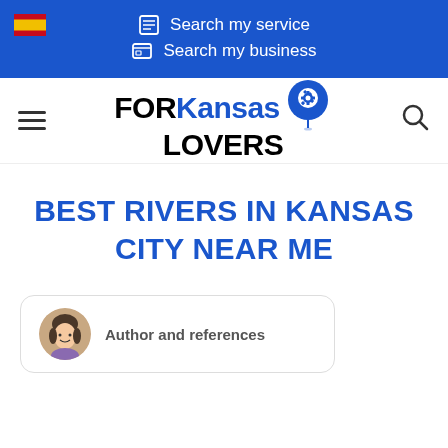Search my service | Search my business
[Figure (logo): FORKansasLOVERS logo with location pin icon containing a gear, navigation bar with hamburger menu and search icon]
BEST RIVERS IN KANSAS CITY NEAR ME
Author and references